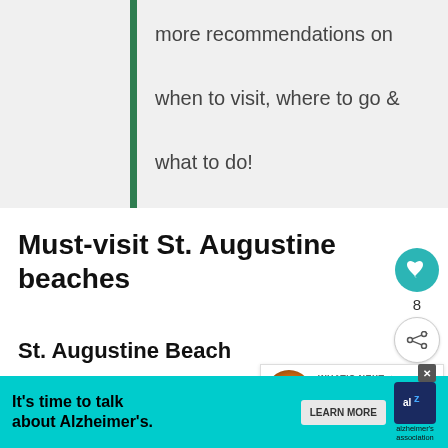more recommendations on when to visit, where to go & what to do!
Must-visit St. Augustine beaches
St. Augustine Beach
Looking for the closest stretch of sa...
St. Augustine's historic downtown. Go Head...
[Figure (other): Alzheimer's Association advertisement banner: 'It's time to talk about Alzheimer's' with Learn More button and Alzheimer's Association logo]